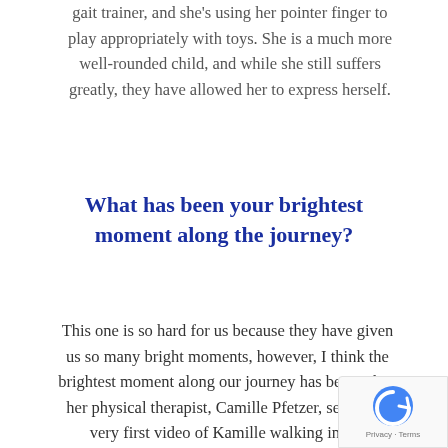gait trainer, and she's using her pointer finger to play appropriately with toys. She is a much more well-rounded child, and while she still suffers greatly, they have allowed her to express herself.
What has been your brightest moment along the journey?
This one is so hard for us because they have given us so many bright moments, however, I think the brightest moment along our journey has been when her physical therapist, Camille Pfetzer, se me the very first video of Kamille walking in her